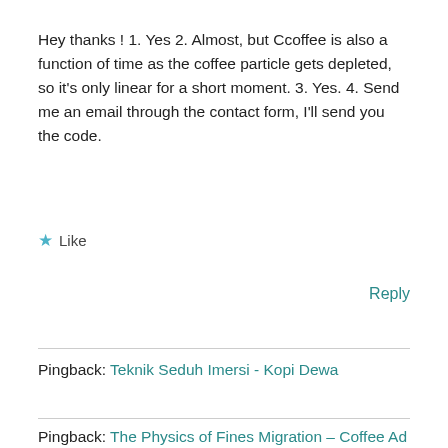Hey thanks ! 1. Yes 2. Almost, but Ccoffee is also a function of time as the coffee particle gets depleted, so it's only linear for a short moment. 3. Yes. 4. Send me an email through the contact form, I'll send you the code.
★ Like
Reply
Pingback: Teknik Seduh Imersi - Kopi Dewa
Pingback: The Physics of Fines Migration – Coffee Ad Astra